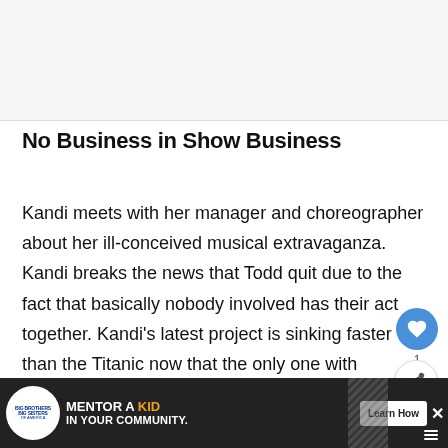[Figure (photo): Top image placeholder / article header image area (light gray)]
No Business in Show Business
Kandi meets with her manager and choreographer about her ill-conceived musical extravaganza. Kandi breaks the news that Todd quit due to the fact that basically nobody involved has their act together. Kandi’s latest project is sinking faster than the Titanic now that the only one with remotely any...
[Figure (other): Ad banner: Big Brothers Big Sisters logo. Text: MENTOR A KID IN YOUR COMMUNITY. Learn How button. Close X button.]